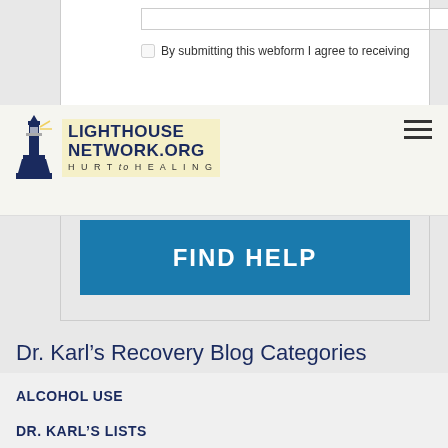[Figure (logo): Lighthouse Network.org logo with lighthouse icon and tagline HURT to HEALING]
By submitting this webform I agree to receiving
[Figure (other): FIND HELP button - teal/blue button]
Dr. Karl’s Recovery Blog Categories
ALCOHOL USE
DR. KARL’S LISTS
EMOTIONS